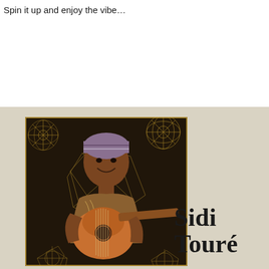Spin it up and enjoy the vibe…
[Figure (photo): Album cover photo of Sidi Touré, a smiling man wearing a knit cap and embroidered jacket, playing an acoustic guitar. The background features decorative golden geometric and floral patterns on a dark dotted background. The image is set against a tan/beige background.]
Sidi Touré